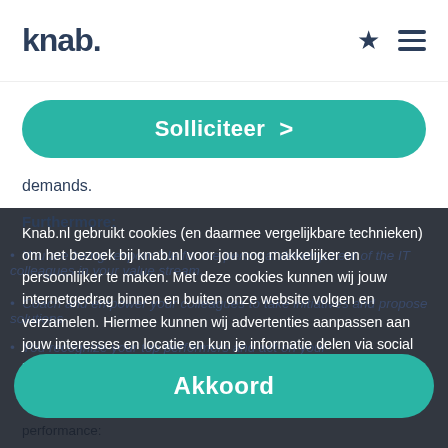knab.
Solliciteer >
demands.
Furthermore:
Knab.nl gebruikt cookies (en daarmee vergelijkbare technieken) om het bezoek bij knab.nl voor jou nog makkelijker en persoonlijker te maken. Met deze cookies kunnen wij jouw internetgedrag binnen en buiten onze website volgen en verzamelen. Hiermee kunnen wij advertenties aanpassen aan jouw interesses en locatie en kun je informatie delen via social media. Door verder gebruik te maken van deze website ga je hiermee akkoord. Meer info Cookies weigeren
You are being responsible for the personal development of the IT colleagues in your value stream.
Coach and empower your colleagues to take initiatives and propose solutions
You recognize your top performers and act on your
Akkoord
performance: